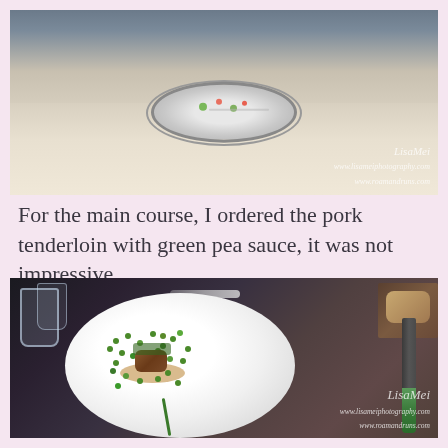[Figure (photo): Restaurant dining scene: person sitting at a table with a decorative round plate with food garnishes, taken from across the table. LisaMei watermark visible in bottom right.]
For the main course, I ordered the pork tenderloin with green pea sauce, it was not impressive.
[Figure (photo): Top-down view of a white restaurant plate with pork tenderloin, green peas, green pea sauce, and orange-brown jus. A green-handled knife is visible to the right on a dark cutting board. Glassware visible top left, bread on board at top right. LisaMei watermark at bottom right.]